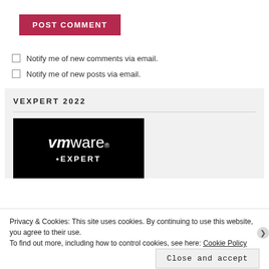POST COMMENT
Notify me of new comments via email.
Notify me of new posts via email.
VEXPERT 2022
[Figure (logo): VMware vExpert logo: black background with white VMware logo and partially visible vEXPERT text]
Privacy & Cookies: This site uses cookies. By continuing to use this website, you agree to their use.
To find out more, including how to control cookies, see here: Cookie Policy
Close and accept